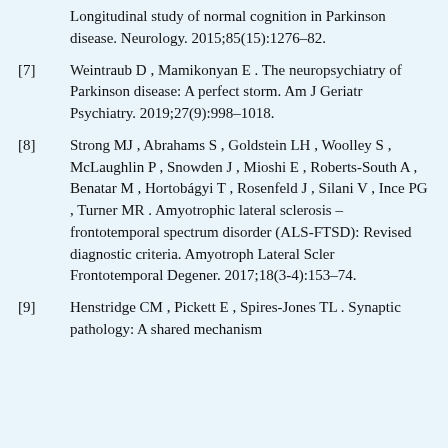[continuation] Longitudinal study of normal cognition in Parkinson disease. Neurology. 2015;85(15):1276–82.
[7] Weintraub D , Mamikonyan E . The neuropsychiatry of Parkinson disease: A perfect storm. Am J Geriatr Psychiatry. 2019;27(9):998–1018.
[8] Strong MJ , Abrahams S , Goldstein LH , Woolley S , McLaughlin P , Snowden J , Mioshi E , Roberts-South A , Benatar M , Hortobágyi T , Rosenfeld J , Silani V , Ince PG , Turner MR . Amyotrophic lateral sclerosis – frontotemporal spectrum disorder (ALS-FTSD): Revised diagnostic criteria. Amyotroph Lateral Scler Frontotemporal Degener. 2017;18(3-4):153–74.
[9] Henstridge CM , Pickett E , Spires-Jones TL . Synaptic pathology: A shared mechanism